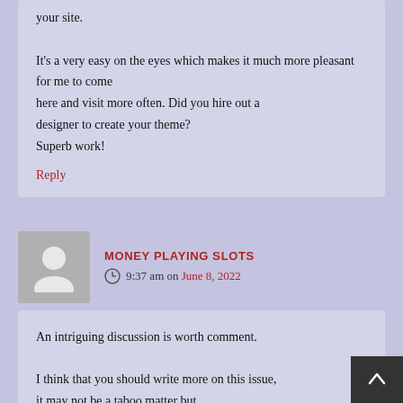your site.

It’s a very easy on the eyes which makes it much more pleasant for me to come here and visit more often. Did you hire out a designer to create your theme? Superb work!
Reply
MONEY PLAYING SLOTS
9:37 am on June 8, 2022
An intriguing discussion is worth comment.

I think that you should write more on this issue, it may not be a taboo matter but usually folks don’t talk about such subjects. To the next!
Kind regards!!